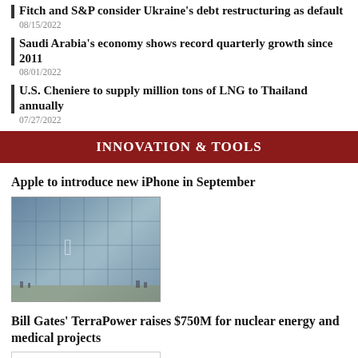Fitch and S&P consider Ukraine's debt restructuring as default
08/15/2022
Saudi Arabia's economy shows record quarterly growth since 2011
08/01/2022
U.S. Cheniere to supply million tons of LNG to Thailand annually
07/27/2022
INNOVATION & TOOLS
Apple to introduce new iPhone in September
[Figure (photo): Apple store exterior with glass facade, Apple logo visible, people walking outside]
Bill Gates' TerraPower raises $750M for nuclear energy and medical projects
[Figure (photo): Partial image placeholder for TerraPower article]